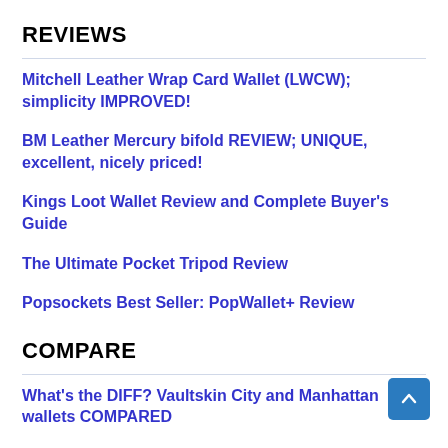REVIEWS
Mitchell Leather Wrap Card Wallet (LWCW); simplicity IMPROVED!
BM Leather Mercury bifold REVIEW; UNIQUE, excellent, nicely priced!
Kings Loot Wallet Review and Complete Buyer's Guide
The Ultimate Pocket Tripod Review
Popsockets Best Seller: PopWallet+ Review
COMPARE
What's the DIFF? Vaultskin City and Manhattan wallets COMPARED